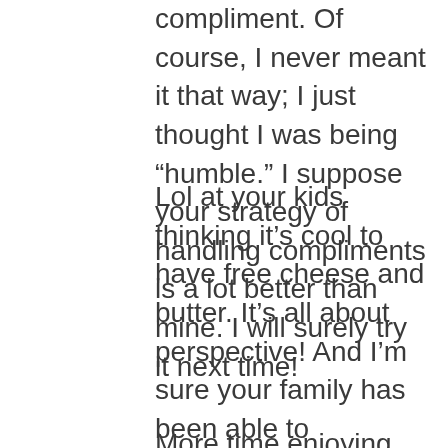compliment. Of course, I never meant it that way; I just thought I was being “humble.” I suppose your strategy of handling compliments is a lot better than mine. I will surely try it next time!
Lol at your kids thinking it’s cool to have free cheese and butter. It’s all about perspective! And I’m sure your family has been able to matriculate through life’s ups and downs because you all truly embrace the positive pieces of whatever life throws at you. It’s amazing to me that you’ve experienced so much, especially the different financial states. All in one life – it seems like you’ve experienced it all.
More time enjoying and less time worrying...